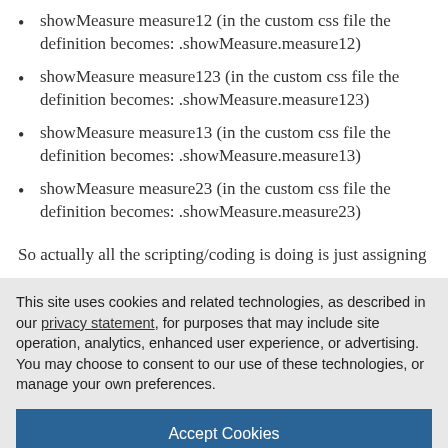showMeasure measure12 (in the custom css file the definition becomes: .showMeasure.measure12)
showMeasure measure123 (in the custom css file the definition becomes: .showMeasure.measure123)
showMeasure measure13 (in the custom css file the definition becomes: .showMeasure.measure13)
showMeasure measure23 (in the custom css file the definition becomes: .showMeasure.measure23)
So actually all the scripting/coding is doing is just assigning
This site uses cookies and related technologies, as described in our privacy statement, for purposes that may include site operation, analytics, enhanced user experience, or advertising. You may choose to consent to our use of these technologies, or manage your own preferences.
Accept Cookies
More Information
Privacy Policy | Powered by: TrustArc